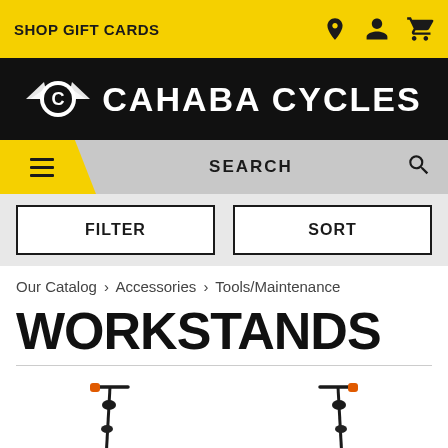SHOP GIFT CARDS
[Figure (logo): Cahaba Cycles logo with winged C emblem on black background]
SEARCH
FILTER | SORT
Our Catalog > Accessories > Tools/Maintenance
WORKSTANDS
[Figure (photo): Two bicycle workstands shown at bottom of page]